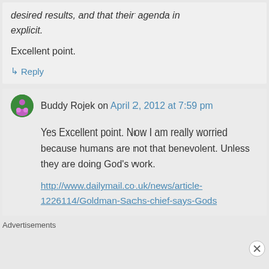desired results, and that their agenda in explicit.
Excellent point.
↳ Reply
Buddy Rojek on April 2, 2012 at 7:59 pm
Yes Excellent point. Now I am really worried because humans are not that benevolent. Unless they are doing God's work.
http://www.dailymail.co.uk/news/article-1226114/Goldman-Sachs-chief-says-Gods
Advertisements